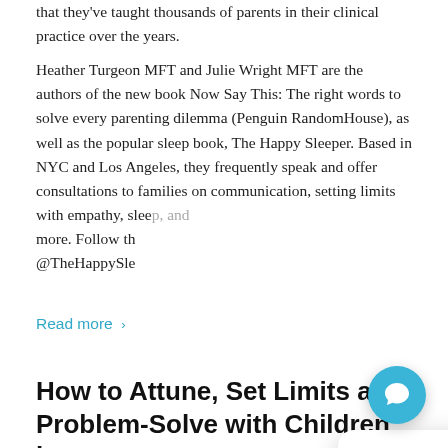that they've taught thousands of parents in their clinical practice over the years.
Heather Turgeon MFT and Julie Wright MFT are the authors of the new book Now Say This: The right words to solve every parenting dilemma (Penguin RandomHouse), as well as the popular sleep book, The Happy Sleeper. Based in NYC and Los Angeles, they frequently speak and offer consultations to families on communication, setting limits with empathy, sleep, and more. Follow th @TheHappySle
Read more >
[Figure (screenshot): Chat popup widget with close button, avatar photo of a woman, and text: 'Hi there, have a question for Dr. Robyn? Text us here.' with a floating blue chat button in the bottom right.]
How to Attune, Set Limits and Problem-Solve with Children in